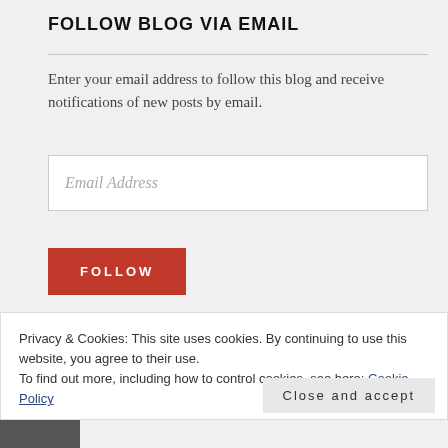FOLLOW BLOG VIA EMAIL
Enter your email address to follow this blog and receive notifications of new posts by email.
Email Address
FOLLOW
Join 1,782 other followers
Privacy & Cookies: This site uses cookies. By continuing to use this website, you agree to their use.
To find out more, including how to control cookies, see here: Cookie Policy
Close and accept